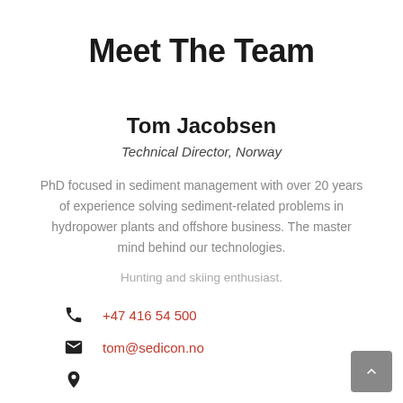Meet The Team
Tom Jacobsen
Technical Director, Norway
PhD focused in sediment management with over 20 years of experience solving sediment-related problems in hydropower plants and offshore business. The master mind behind our technologies.
Hunting and skiing enthusiast.
+47 416 54 500
tom@sedicon.no